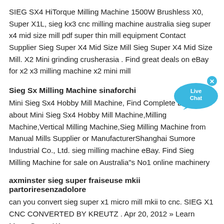SIEG SX4 HiTorque Milling Machine 1500W Brushless X0, Super X1L, sieg kx3 cnc milling machine australia sieg super x4 mid size mill pdf super thin mill equipment Contact Supplier Sieg Super X4 Mid Size Mill Sieg Super X4 Mid Size Mill. X2 Mini grinding crusherasia . Find great deals on eBay for x2 x3 milling machine x2 mini mill
[Figure (other): Live Chat button - blue speech bubble with 'Live Chat' text and an X close button]
Sieg Sx Milling Machine sinaforchi
Mini Sieg Sx4 Hobby Mill Machine, Find Complete Details about Mini Sieg Sx4 Hobby Mill Machine,Milling Machine,Vertical Milling Machine,Sieg Milling Machine from Manual Mills Supplier or ManufacturerShanghai Sumore Industrial Co., Ltd. sieg milling machine eBay. Find Sieg Milling Machine for sale on Australia"s No1 online machinery
axminster sieg super fraiseuse mkii partoriresenzadolore
can you convert sieg super x1 micro mill mkii to cnc. SIEG X1 CNC CONVERTED BY KREUTZ . Apr 20, 2012 » Learn More. Super X1